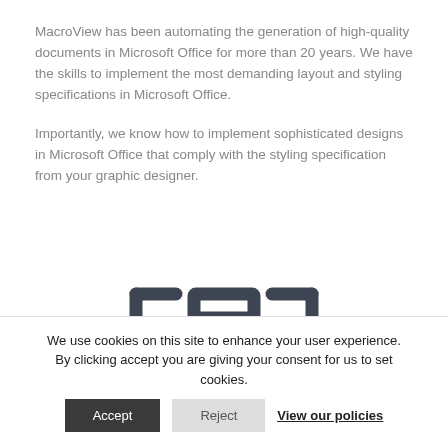MacroView has been automating the generation of high-quality documents in Microsoft Office for more than 20 years. We have the skills to implement the most demanding layout and styling specifications in Microsoft Office.
Importantly, we know how to implement sophisticated designs in Microsoft Office that comply with the styling specification from your graphic designer.
[Figure (logo): MacroView logo: stylized letters 'FAA' or similar, rendered in dark gray with a geometric/blocky font style]
We use cookies on this site to enhance your user experience. By clicking accept you are giving your consent for us to set cookies. Accept Reject View our policies